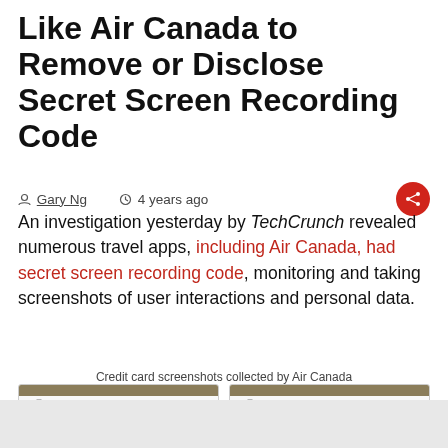Like Air Canada to Remove or Disclose Secret Screen Recording Code
Gary Ng  4 years ago
An investigation yesterday by TechCrunch revealed numerous travel apps, including Air Canada, had secret screen recording code, monitoring and taking screenshots of user interactions and personal data.
Credit card screenshots collected by Air Canada
[Figure (screenshot): Two side-by-side screenshots of Air Canada app showing 'New credit card' entry screens with credit card number fields (one redacted in black), expiry date 12/22 or 12/13, CVV 123, and name fields.]